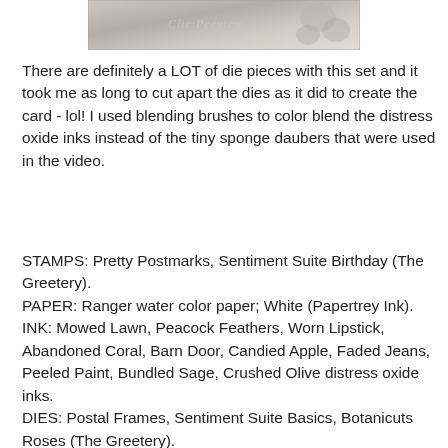[Figure (photo): Partial view of a crafting/card image with a watermark, showing a floral or decorative card design in muted tones.]
There are definitely a LOT of die pieces with this set and it took me as long to cut apart the dies as it did to create the card - lol! I used blending brushes to color blend the distress oxide inks instead of the tiny sponge daubers that were used in the video.
STAMPS: Pretty Postmarks, Sentiment Suite Birthday (The Greetery).
PAPER: Ranger water color paper; White (Papertrey Ink).
INK: Mowed Lawn, Peacock Feathers, Worn Lipstick, Abandoned Coral, Barn Door, Candied Apple, Faded Jeans, Peeled Paint, Bundled Sage, Crushed Olive distress oxide inks.
DIES: Postal Frames, Sentiment Suite Basics, Botanicuts Roses (The Greetery).